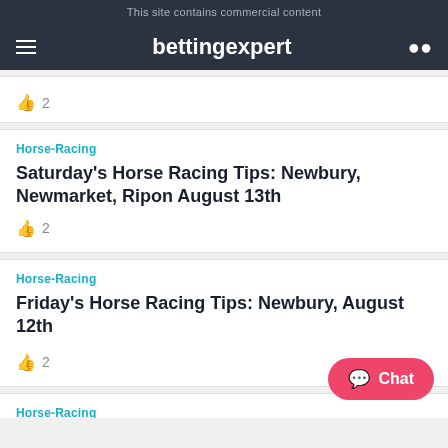This site contains commercial content
bettingexpert
👍 2
Horse-Racing
Saturday's Horse Racing Tips: Newbury, Newmarket, Ripon August 13th
👍 2
Horse-Racing
Friday's Horse Racing Tips: Newbury, August 12th
👍 2
Horse-Racing
Thursday's Horse Racing Tips: Salisbury